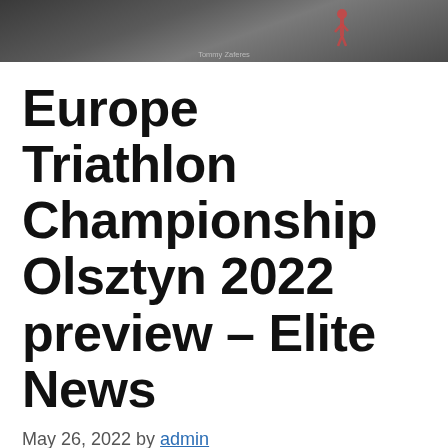[Figure (photo): Dark banner photo of a triathlon scene, likely water/athlete. Credit: Tommy Zaferes]
Europe Triathlon Championship Olsztyn 2022 preview – Elite News
May 26, 2022 by admin
Starting on Friday, the town of Olsztyn in Poland will host the first European Triathlon Championship of the season.